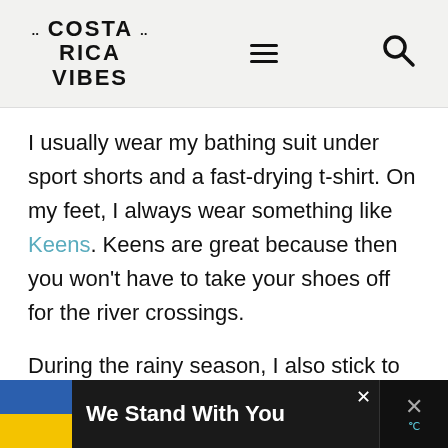COSTA RICA VIBES
I usually wear my bathing suit under sport shorts and a fast-drying t-shirt. On my feet, I always wear something like Keens. Keens are great because then you won't have to take your shoes off for the river crossings.
During the rainy season, I also stick to this outfit. A little rain never hurt anyone, but when it is so warm out its never fun to
[Figure (infographic): Ad banner: Ukrainian flag colors (blue and yellow), text 'We Stand With You' in white on dark background, with close button and weather icon]